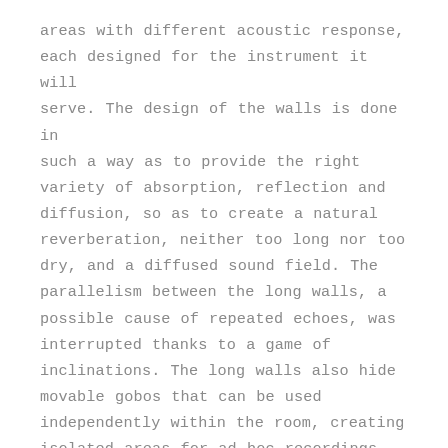areas with different acoustic response, each designed for the instrument it will serve. The design of the walls is done in such a way as to provide the right variety of absorption, reflection and diffusion, so as to create a natural reverberation, neither too long nor too dry, and a diffused sound field. The parallelism between the long walls, a possible cause of repeated echoes, was interrupted thanks to a game of inclinations. The long walls also hide movable gobos that can be used independently within the room, creating isolated areas for ad hoc recordings.

By simply moving around the various points of the room you will hear your instrument react differently, you will find the perfect point to enhance the